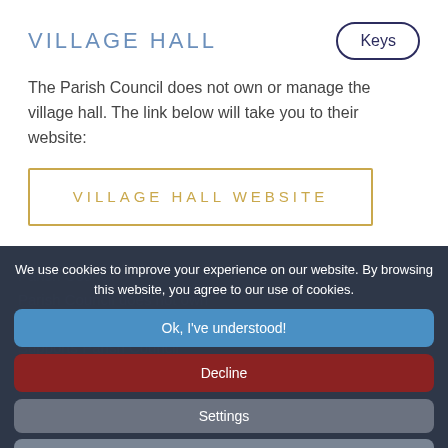VILLAGE HALL
[Figure (other): Keys button — rounded rectangle border button with text 'Keys']
The Parish Council does not own or manage the village hall. The link below will take you to their website:
[Figure (other): Gold-bordered rectangle button with text 'VILLAGE HALL WEBSITE']
We use cookies to improve your experience on our website. By browsing this website, you agree to our use of cookies.
[Figure (other): Blue rounded button: Ok, I've understood!]
[Figure (other): Red rounded button: Decline]
[Figure (other): Gray rounded button: Settings]
[Figure (other): Gray rounded button: More Info]